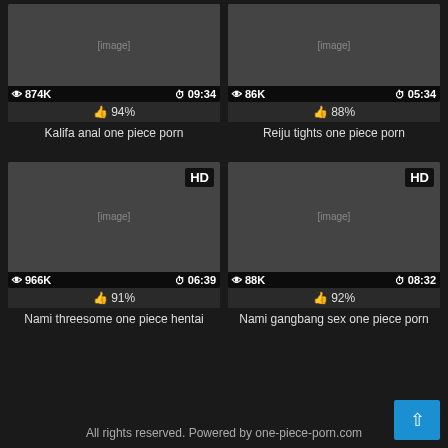[Figure (screenshot): Thumbnail for 'Kalifa anal one piece porn' with 874K views, 09:34 duration, 94% likes]
Kalifa anal one piece porn
[Figure (screenshot): Thumbnail for 'Reiju tights one piece porn' with 86K views, 05:34 duration, 88% likes]
Reiju tights one piece porn
[Figure (screenshot): Thumbnail for 'Nami threesome one piece hentai' with 966K views, 06:39 duration, 91% likes, HD]
Nami threesome one piece hentai
[Figure (screenshot): Thumbnail for 'Nami gangbang sex one piece porn' with 88K views, 08:32 duration, 92% likes, HD]
Nami gangbang sex one piece porn
All rights reserved. Powered by one-piece-porn.com